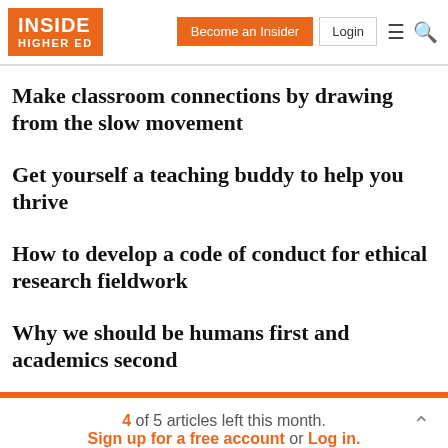INSIDE HIGHER ED | Become an Insider | Login
Make classroom connections by drawing from the slow movement
Get yourself a teaching buddy to help you thrive
How to develop a code of conduct for ethical research fieldwork
Why we should be humans first and academics second
4 of 5 articles left this month. Sign up for a free account or Log in.